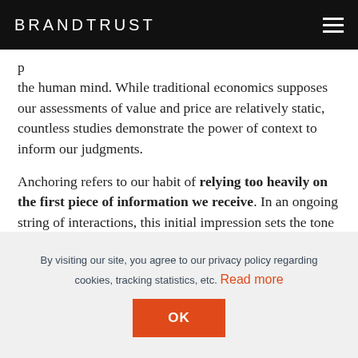BRANDTRUST
the human mind. While traditional economics supposes our assessments of value and price are relatively static, countless studies demonstrate the power of context to inform our judgments.
Anchoring refers to our habit of relying too heavily on the first piece of information we receive. In an ongoing string of interactions, this initial impression sets the tone for how subsequent data are interpreted.
By visiting our site, you agree to our privacy policy regarding cookies, tracking statistics, etc. Read more
OK